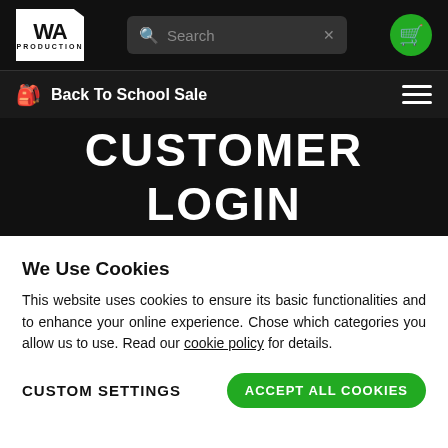[Figure (logo): WA Production white logo on black header bar with search box and cart button]
Back To School Sale
CUSTOMER LOGIN
We Use Cookies
This website uses cookies to ensure its basic functionalities and to enhance your online experience. Chose which categories you allow us to use. Read our cookie policy for details.
CUSTOM SETTINGS   ACCEPT ALL COOKIES